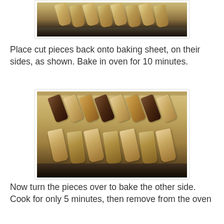[Figure (photo): Biscotti pieces laid on their sides on a baking sheet, top portion of image showing cut biscotti arranged in rows]
Place cut pieces back onto baking sheet, on their sides, as shown. Bake in oven for 10 minutes.
[Figure (photo): Biscotti pieces arranged on their sides on a parchment-lined baking sheet, two rows visible with golden-brown biscotti showing cranberries and nuts]
Now turn the pieces over to bake the other side. Cook for only 5 minutes, then remove from the oven